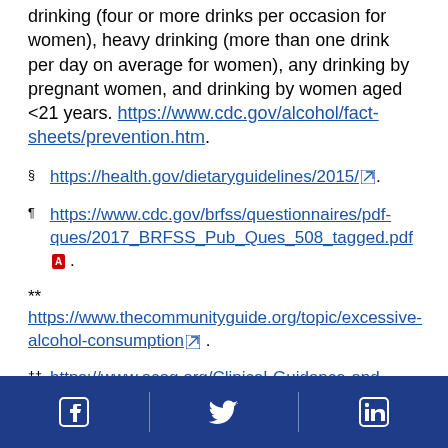drinking (four or more drinks per occasion for women), heavy drinking (more than one drink per day on average for women), any drinking by pregnant women, and drinking by women aged <21 years. https://www.cdc.gov/alcohol/fact-sheets/prevention.htm.
§  https://health.gov/dietaryguidelines/2015/ .
¶  https://www.cdc.gov/brfss/questionnaires/pdf-ques/2017_BRFSS_Pub_Ques_508_tagged.pdf [pdf icon] .
**
https://www.thecommunityguide.org/topic/excessive-alcohol-consumption [ext icon] .
†† https://www.acog.org/Clinical-Guidance-and-
Facebook | Twitter | LinkedIn